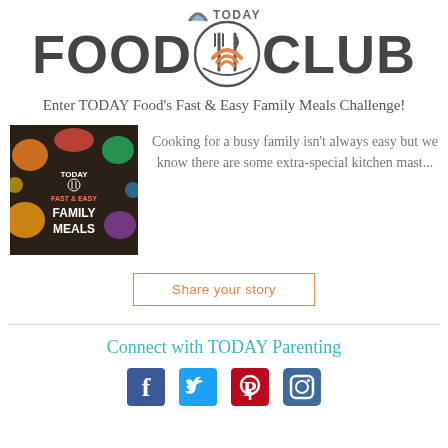[Figure (logo): TODAY Food Club logo with fork and knife crossed in a circle, orange rainbow arc, large bold FOOD CLUB text]
Enter TODAY Food's Fast & Easy Family Meals Challenge!
[Figure (photo): TODAY Food Fast & Easy Family Meals promotional image with colorful food dishes on dark background]
Cooking for a busy family isn't always easy but we know there are some extra-special kitchen mast...
Share your story
Connect with TODAY Parenting
[Figure (infographic): Social media icons: Facebook, Twitter, Pinterest, Instagram]